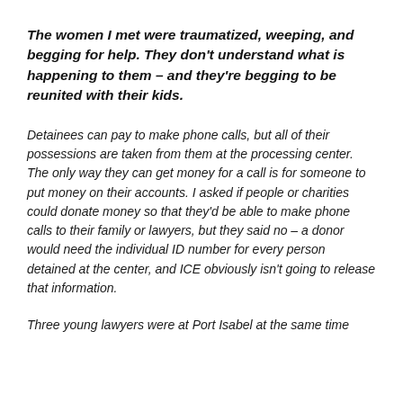The women I met were traumatized, weeping, and begging for help. They don't understand what is happening to them – and they're begging to be reunited with their kids.
Detainees can pay to make phone calls, but all of their possessions are taken from them at the processing center. The only way they can get money for a call is for someone to put money on their accounts. I asked if people or charities could donate money so that they'd be able to make phone calls to their family or lawyers, but they said no – a donor would need the individual ID number for every person detained at the center, and ICE obviously isn't going to release that information.
Three young lawyers were at Port Isabel at the same time